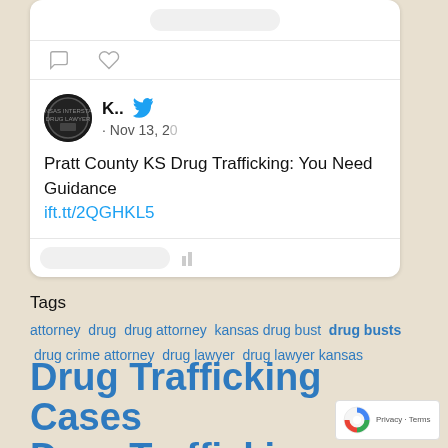[Figure (screenshot): Tweet card from Kansas Interstate Drug Lawyer account dated Nov 13, showing post about Pratt County KS Drug Trafficking with link ift.tt/2QGHKL5]
Tags
attorney drug drug attorney kansas drug bust drug busts drug crime attorney drug lawyer drug lawyer kansas Drug Trafficking Cases Drug Trafficking Defense Attorney Drug